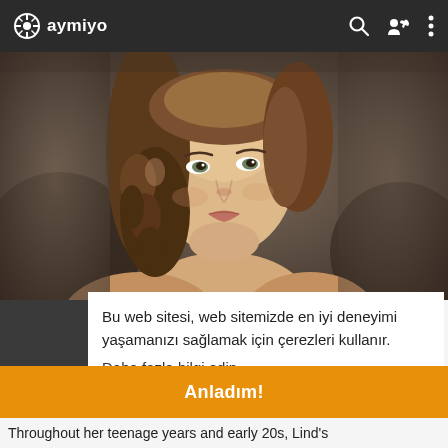aymiyo
[Figure (photo): Portrait painting of a young woman with curly brown hair, facing slightly left, classical painting style with dark background]
Bu web sitesi, web sitemizde en iyi deneyimi yaşamanızı sağlamak için çerezleri kullanır.
Daha fazla bilgi edin
Anladım!
Throughout her teenage years and early 20s, Lind's